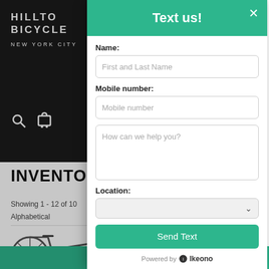[Figure (screenshot): Hilltop Bicycles website background with dark header showing logo, search and cart icons, INVENTORY heading, showing count, and bicycle image. Behind a modal dialog overlay.]
Text us!
Name:
First and Last Name
Mobile number:
Mobile number
How can we help you?
Location:
Send Text
Powered by  Ikeono